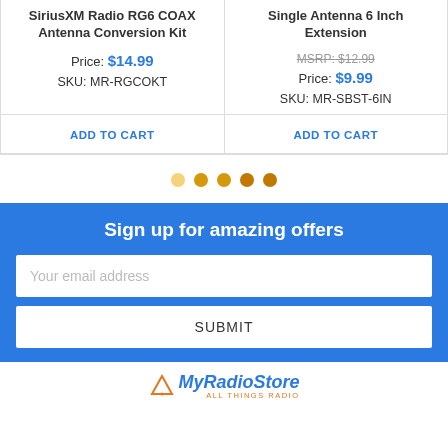SiriusXM Radio RG6 COAX Antenna Conversion Kit
Price: $14.99
SKU: MR-RGCOKT
ADD TO CART
Single Antenna 6 Inch Extension
MSRP: $12.99
Price: $9.99
SKU: MR-SBST-6IN
ADD TO CART
[Figure (other): Pagination dots: 5 gold/yellow circles]
Sign up for amazing offers
Your email address
SUBMIT
[Figure (logo): MyRadioStore ALL THINGS RADIO logo]